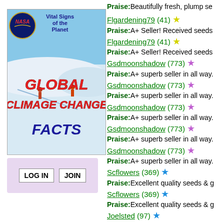[Figure (screenshot): NASA Vital Signs of the Planet - Global Climate Change Facts banner image with two people on ice/snow landscape]
LOG IN   JOIN
Praise:Beautifully fresh, plump se
Flgardening79 (41) ★ Praise:A+ Seller! Received seeds
Flgardening79 (41) ★ Praise:A+ Seller! Received seeds
Gsdmoonshadow (773) ★ Praise:A+ superb seller in all way.
Gsdmoonshadow (773) ★ Praise:A+ superb seller in all way.
Gsdmoonshadow (773) ★ Praise:A+ superb seller in all way.
Gsdmoonshadow (773) ★ Praise:A+ superb seller in all way.
Gsdmoonshadow (773) ★ Praise:A+ superb seller in all way.
Scflowers (369) ★ Praise:Excellent quality seeds & g
Scflowers (369) ★ Praise:Excellent quality seeds & g
Joelsted (97) ★